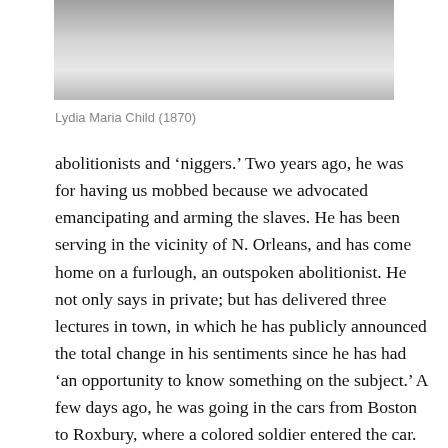[Figure (photo): Black and white photograph of Lydia Maria Child, partially visible at top of page, cropped]
Lydia Maria Child (1870)
abolitionists and 'niggers.' Two years ago, he was for having us mobbed because we advocated emancipating and arming the slaves. He has been serving in the vicinity of N. Orleans, and has come home on a furlough, an outspoken abolitionist. He not only says in private; but has delivered three lectures in town, in which he has publicly announced the total change in his sentiments since he has had 'an opportunity to know something on the subject.' A few days ago, he was going in the cars from Boston to Roxbury, where a colored soldier entered the car. Attempting to seat himself, he was repulsed by a white man, who rudely exclaimed, 'I'm not going to ride with